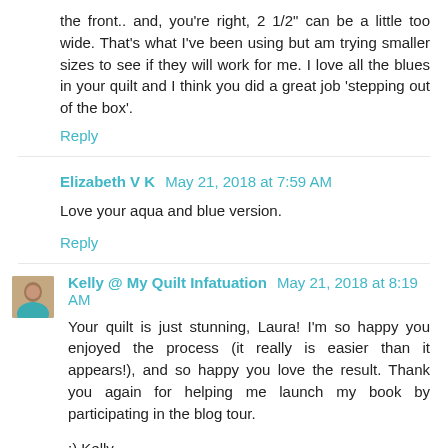the front.. and, you're right, 2 1/2" can be a little too wide. That's what I've been using but am trying smaller sizes to see if they will work for me. I love all the blues in your quilt and I think you did a great job 'stepping out of the box'.
Reply
Elizabeth V K  May 21, 2018 at 7:59 AM
Love your aqua and blue version.
Reply
Kelly @ My Quilt Infatuation  May 21, 2018 at 8:19 AM
Your quilt is just stunning, Laura! I'm so happy you enjoyed the process (it really is easier than it appears!), and so happy you love the result. Thank you again for helping me launch my book by participating in the blog tour.
:) Kelly
Reply